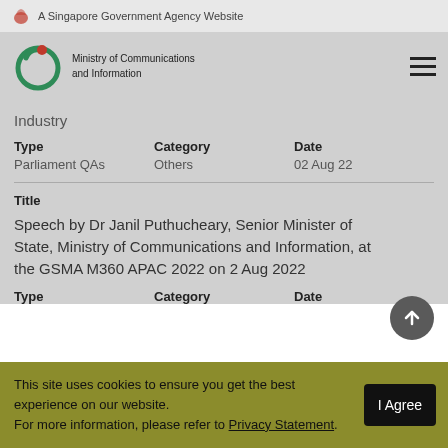A Singapore Government Agency Website
[Figure (logo): Ministry of Communications and Information logo with green circular icon and red dot]
Industry
| Type | Category | Date |
| --- | --- | --- |
| Parliament QAs | Others | 02 Aug 22 |
Title
Speech by Dr Janil Puthucheary, Senior Minister of State, Ministry of Communications and Information, at the GSMA M360 APAC 2022 on 2 Aug 2022
| Type | Category | Date |
| --- | --- | --- |
This site uses cookies to ensure you get the best experience on our website.
For more information, please refer to Privacy Statement.